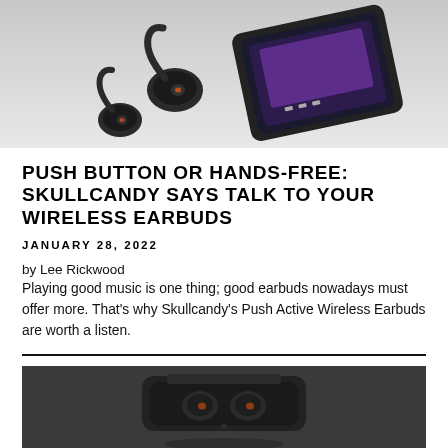[Figure (photo): Skullcandy Push Active wireless earbuds with ear hooks shown next to a smartphone playing music, on a white background]
PUSH BUTTON OR HANDS-FREE: SKULLCANDY SAYS TALK TO YOUR WIRELESS EARBUDS
JANUARY 28, 2022
by Lee Rickwood
Playing good music is one thing; good earbuds nowadays must offer more. That's why Skullcandy's Push Active Wireless Earbuds are worth a listen.
[Figure (photo): Skullcandy Push Active wireless earbuds shown in their charging case, dark background]